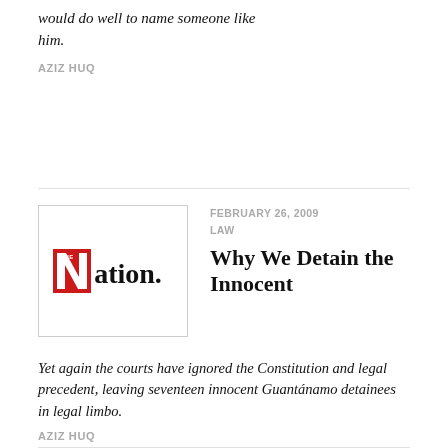would do well to name someone like him.
AZIZ HUQ
[Figure (logo): The Nation magazine logo — red block letter N with 'THE' superscript, followed by 'ation.' in black serif font]
FEBRUARY 26, 2009
LAW
Why We Detain the Innocent
Yet again the courts have ignored the Constitution and legal precedent, leaving seventeen innocent Guantánamo detainees in legal limbo.
AZIZ HUQ